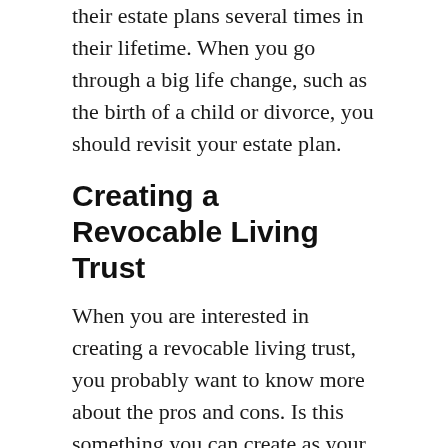their estate plans several times in their lifetime. When you go through a big life change, such as the birth of a child or divorce, you should revisit your estate plan.
Creating a Revocable Living Trust
When you are interested in creating a revocable living trust, you probably want to know more about the pros and cons. Is this something you can create as your only estate planning documents or would it work best with other estate planning documents? What will it do for your loved ones after you pass away? If you are considering a revocable living trust, do not hesitate any longer to reach out to